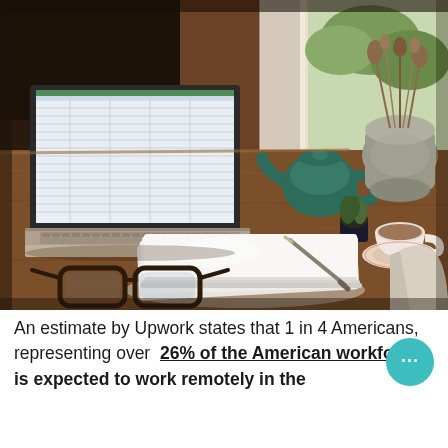[Figure (photo): A wooden desk workspace scene photographed from above-angle, showing an open laptop with a spreadsheet on screen, a green teapot, a small potted plant, a ceramic vase with dried foliage, a grey textured vase, a cup of tea on a floral saucer, a stack of white papers/notebooks with a pen on top, black-rimmed eyeglasses on the desk surface, and a beige upholstered chair partially visible on the right. Natural window light comes from the right side.]
An estimate by Upwork states that 1 in 4 Americans, representing over 26% of the American workforce, is expected to work remotely in the